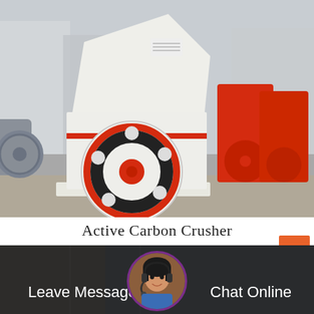[Figure (photo): A large white and red industrial Active Carbon Crusher machine in a factory/outdoor yard, with additional red crusher machines visible in the background. A grey industrial fan is visible on the left side.]
Active Carbon Crusher
[Figure (photo): Footer bar with dark semi-transparent overlay over an industrial background image. Shows a circular avatar of a female customer service representative wearing a headset in the center. Text reads 'Leave Message' on the left and 'Chat Online' on the right. An orange back-to-top button with an upward chevron is visible in the top-right corner of the footer area.]